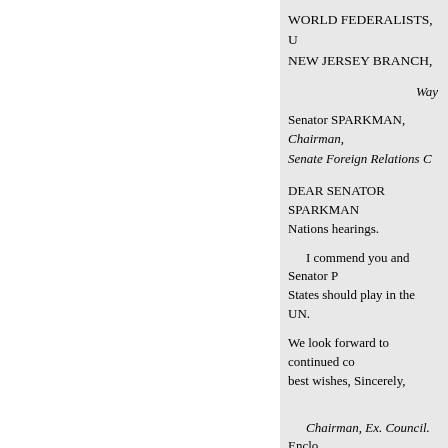WORLD FEDERALISTS, U… NEW JERSEY BRANCH,…
Way…
Senator SPARKMAN,
Chairman,
Senate Foreign Relations C…
DEAR SENATOR SPARKMAN… Nations hearings.
I commend you and Senator P… States should play in the UN.
We look forward to continued co… best wishes, Sincerely,
Chairman, Ex. Council. Enclo…
THE CASE FOR UNITED ST…
(By Water F. Hoffmann) The U… for advancing world peace, prosp… Assembly decided to invite sugg…